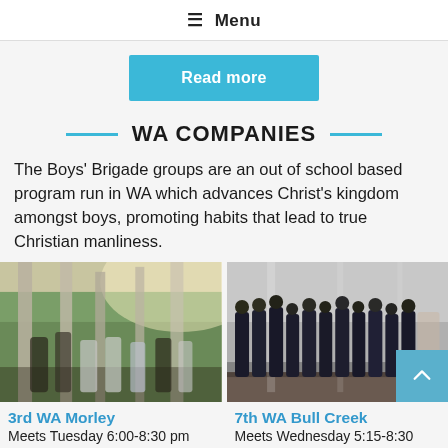☰ Menu
Read more
WA COMPANIES
The Boys' Brigade groups are an out of school based program run in WA which advances Christ's kingdom amongst boys, promoting habits that lead to true Christian manliness.
[Figure (photo): Boys in white uniforms gathered outdoors among tall tree trunks in sunlight]
[Figure (photo): Boys in dark navy uniforms lined up indoors in a hall or gymnasium]
3rd WA Morley
Meets Tuesday 6:00-8:30 pm
7th WA Bull Creek
Meets Wednesday 5:15-8:30